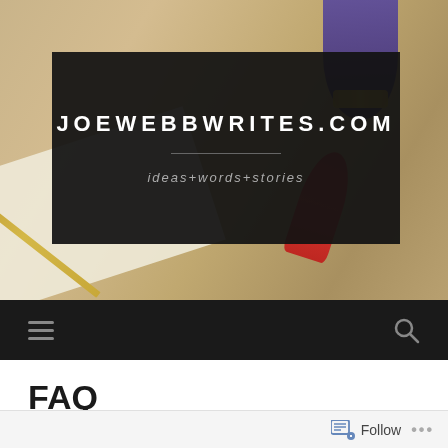[Figure (photo): Hero banner image showing writing implements (pen, feather quill, paper) and a sword on a wooden surface, with a dark overlay containing the site title and tagline. Background shows a desk with parchment paper, a gold fountain pen, a red wax seal or feather, and a sword hilt.]
JOEWEBBWRITES.COM
ideas+words+stories
Navigation bar with hamburger menu icon and search icon
FAQ
Follow ...